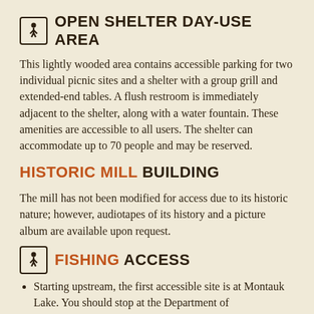OPEN SHELTER DAY-USE AREA
This lightly wooded area contains accessible parking for two individual picnic sites and a shelter with a group grill and extended-end tables. A flush restroom is immediately adjacent to the shelter, along with a water fountain. These amenities are accessible to all users. The shelter can accommodate up to 70 people and may be reserved.
HISTORIC MILL BUILDING
The mill has not been modified for access due to its historic nature; however, audiotapes of its history and a picture album are available upon request.
FISHING ACCESS
Starting upstream, the first accessible site is at Montauk Lake. You should stop at the Department of Conservation's hatchery building to get permission to drive the one-quarter mile to the site. A paved pier extends out into the lake in this 'Catch and Release Only' area. Most of the day, this site...